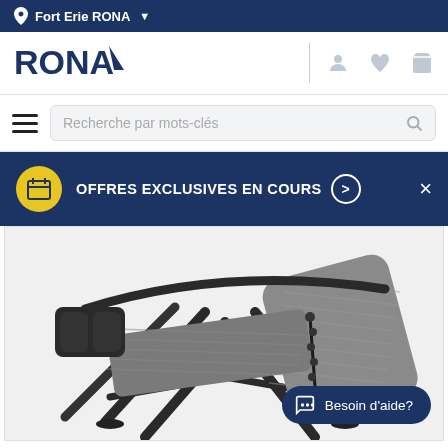Fort Erie RONA
[Figure (logo): RONA logo in dark blue with triangular mountain/arrow mark]
Recherche par mots-clés
OFFRES EXCLUSIVES EN COURS
[Figure (photo): Zero gravity recliner chair with grey textilene fabric, black steel frame, cup holder and tray, shown at an angle]